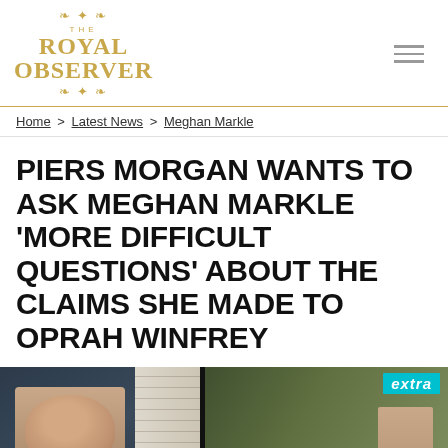THE ROYAL OBSERVER
Home > Latest News > Meghan Markle
PIERS MORGAN WANTS TO ASK MEGHAN MARKLE 'MORE DIFFICULT QUESTIONS' ABOUT THE CLAIMS SHE MADE TO OPRAH WINFREY
[Figure (screenshot): Video thumbnail from Extra showing Piers Morgan in a video call, with the Extra logo visible. The video title bar reads 'Piers Morgan Reveals What He Would ...']